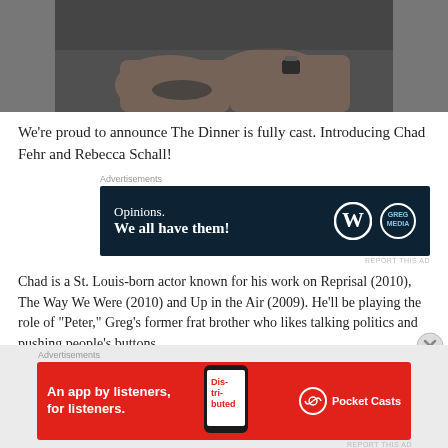[Figure (photo): Partial photo of a person's arms resting on a steering wheel, wearing a watch, dark clothing]
We're proud to announce The Dinner is fully cast. Introducing Chad Fehr and Rebecca Schall!
[Figure (other): Advertisement banner: dark navy background, text 'Opinions. We all have them!' with WordPress and another logo]
Chad is a St. Louis-born actor known for his work on Reprisal (2010), The Way We Were (2010) and Up in the Air (2009). He'll be playing the role of "Peter," Greg's former frat brother who likes talking politics and pushing people's buttons.
[Figure (other): Advertisement banner: red background, text 'An app by listeners, for listeners.' with Pocket Casts logo and phone image]